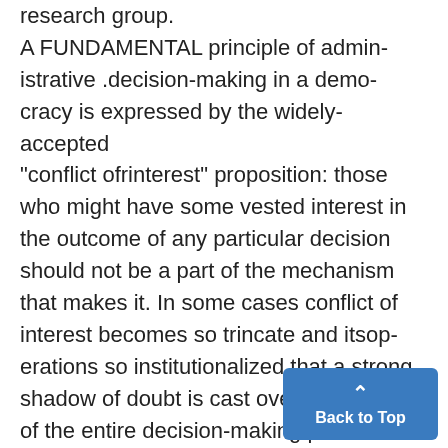research group. A FUNDAMENTAL principle of administrative .decision-making in a democracy is expressed by the widely-accepted "conflict ofrinterest" proposition: those who might have some vested interest in the outcome of any particular decision should not be a part of the mechanism that makes it. In some cases conflict of interest becomes so trincate and itsoperations so institutionalized that a strong shadow of doubt is cast over the validity of the entire decision-making p... Recently the Board of Regents...